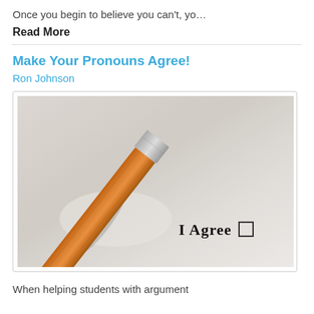Once you begin to believe you can't, yo…
Read More
Make Your Pronouns Agree!
Ron Johnson
[Figure (photo): Close-up photo of a ballpoint pen tip resting on paper with the printed text 'I Agree' and an empty checkbox]
When helping students with argument